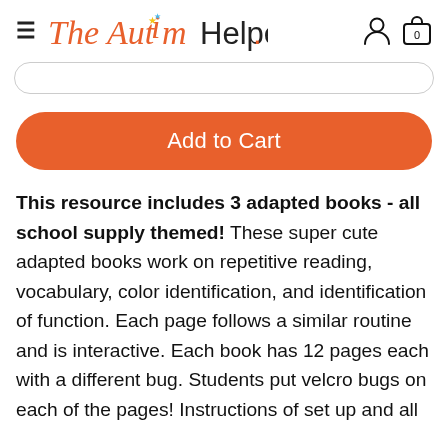The Autism Helper.
Add to Cart
This resource includes 3 adapted books - all school supply themed! These super cute adapted books work on repetitive reading, vocabulary, color identification, and identification of function. Each page follows a similar routine and is interactive. Each book has 12 pages each with a different bug. Students put velcro bugs on each of the pages! Instructions of set up and all